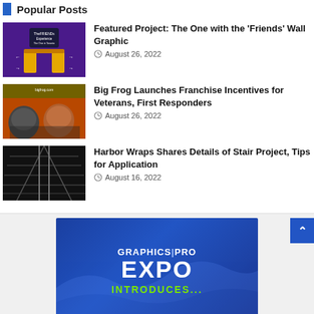Popular Posts
[Figure (photo): The Friends Experience - The One in Toronto, purple background with yellow door frame]
Featured Project: The One with the 'Friends' Wall Graphic
August 26, 2022
[Figure (photo): Two men posing in front of Big Frog custom t-shirts store]
Big Frog Launches Franchise Incentives for Veterans, First Responders
August 26, 2022
[Figure (photo): Looking down a dark staircase with metal railings]
Harbor Wraps Shares Details of Stair Project, Tips for Application
August 16, 2022
[Figure (other): Graphics Pro Expo advertisement banner with blue background, mountain wave design, text: GRAPHICS|PRO EXPO INTRODUCES...]